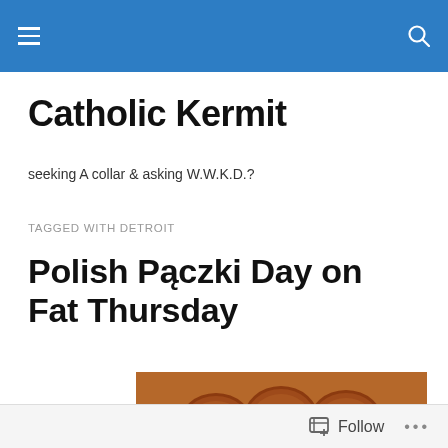Catholic Kermit — navigation bar
Catholic Kermit
seeking A collar & asking W.W.K.D.?
TAGGED WITH DETROIT
Polish Pączki Day on Fat Thursday
[Figure (photo): Close-up photo of Polish pączki (round filled doughnuts), golden-brown, clustered together on a white surface]
Follow ...